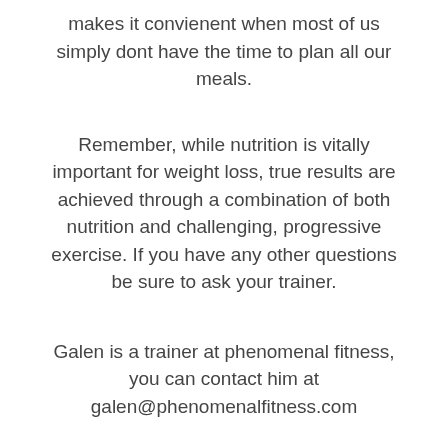makes it convienent when most of us simply dont have the time to plan all our meals.
Remember, while nutrition is vitally important for weight loss, true results are achieved through a combination of both nutrition and challenging, progressive exercise. If you have any other questions be sure to ask your trainer.
Galen is a trainer at phenomenal fitness, you can contact him at galen@phenomenalfitness.com